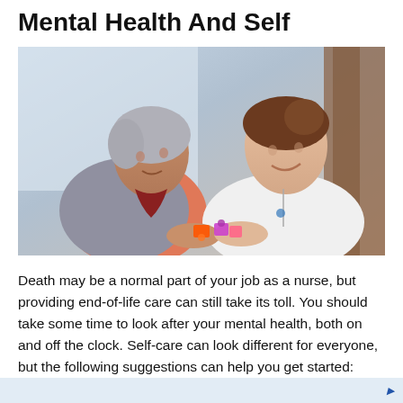Mental Health And Self
[Figure (photo): An elderly woman in a pink blouse and grey cardigan sitting in a wheelchair, interacting with a young female nurse in a white uniform. They are holding colorful puzzle pieces together, both smiling.]
Death may be a normal part of your job as a nurse, but providing end-of-life care can still take its toll. You should take some time to look after your mental health, both on and off the clock. Self-care can look different for everyone, but the following suggestions can help you get started: